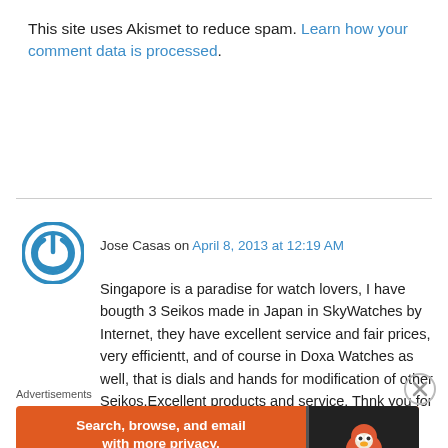This site uses Akismet to reduce spam. Learn how your comment data is processed.
Jose Casas on April 8, 2013 at 12:19 AM
Singapore is a paradise for watch lovers, I have bougth 3 Seikos made in Japan in SkyWatches by Internet, they have excellent service and fair prices, very efficientt, and of course in Doxa Watches as well, that is dials and hands for modification of other Seikos.Excellent products and service. Thnk you for your very informative
Advertisements
[Figure (screenshot): DuckDuckGo advertisement banner: orange background with text 'Search, browse, and email with more privacy. All in One Free App' and DuckDuckGo logo on dark right panel]